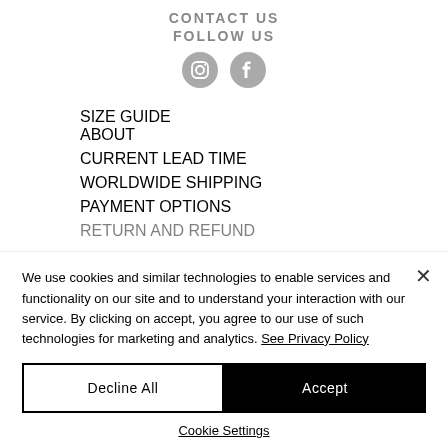CONTACT US
FOLLOW US
[Figure (illustration): Instagram and Facebook social media icons (circular grey icons)]
SIZE GUIDE
ABOUT
CURRENT LEAD TIME
WORLDWIDE SHIPPING
PAYMENT OPTIONS
RETURN AND REFUND
We use cookies and similar technologies to enable services and functionality on our site and to understand your interaction with our service. By clicking on accept, you agree to our use of such technologies for marketing and analytics. See Privacy Policy
Decline All
Accept
Cookie Settings